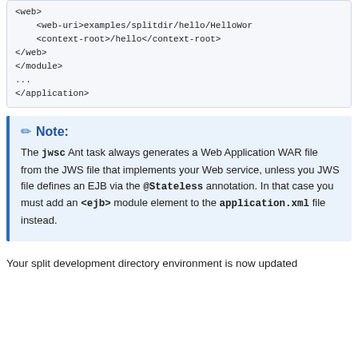<web>
    <web-uri>examples/splitdir/hello/HelloWor
    <context-root>/hello</context-root>
</web>
</module>
...
</application>
Note: The jwsc Ant task always generates a Web Application WAR file from the JWS file that implements your Web service, unless you JWS file defines an EJB via the @Stateless annotation. In that case you must add an <ejb> module element to the application.xml file instead.
Your split development directory environment is now updated